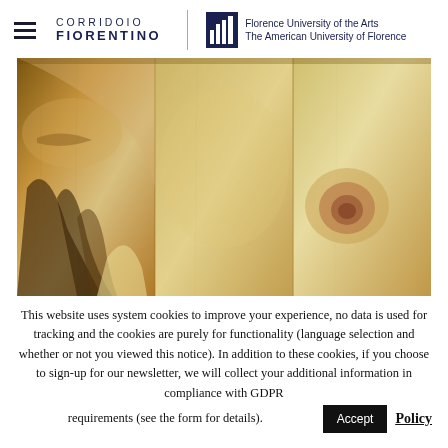CORRIDOIO FIORENTINO | Florence University of the Arts The American University of Florence
[Figure (photo): Close-up of a classical painting or sculpture detail, showing warm amber and brown tones with painted/carved drapery folds and a nipple, reminiscent of Renaissance art on wooden panels.]
This website uses system cookies to improve your experience, no data is used for tracking and the cookies are purely for functionality (language selection and whether or not you viewed this notice). In addition to these cookies, if you choose to sign-up for our newsletter, we will collect your additional information in compliance with GDPR requirements (see the form for details).